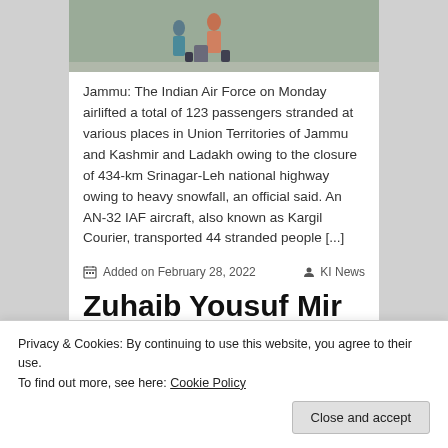[Figure (photo): People walking with luggage, viewed from above/behind on a paved surface]
Jammu: The Indian Air Force on Monday airlifted a total of 123 passengers stranded at various places in Union Territories of Jammu and Kashmir and Ladakh owing to the closure of 434-km Srinagar-Leh national highway owing to heavy snowfall, an official said. An AN-32 IAF aircraft, also known as Kargil Courier, transported 44 stranded people [...]
Added on February 28, 2022   KI News
Zuhaib Yousuf Mir
Srinagar
[Figure (photo): Bottom photo strip, partial view]
Privacy & Cookies: By continuing to use this website, you agree to their use.
To find out more, see here: Cookie Policy
Close and accept